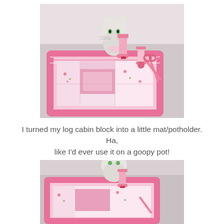[Figure (photo): A pink and white log cabin quilt block mat/potholder laid flat on a white surface, with a white ceramic cat figurine, pink thread spools, and pink scissors arranged on top.]
I turned my log cabin block into a little mat/potholder.  Ha, like I'd ever use it on a goopy pot!
[Figure (photo): A closer view of the same pink and white log cabin quilt mat/potholder with the ceramic cat figurine and pink thread spools on top.]